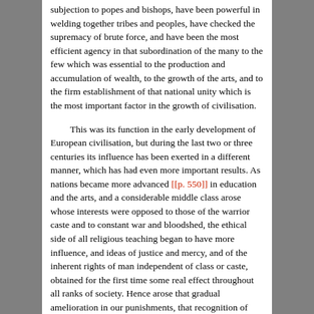subjection to popes and bishops, have been powerful in welding together tribes and peoples, have checked the supremacy of brute force, and have been the most efficient agency in that subordination of the many to the few which was essential to the production and accumulation of wealth, to the growth of the arts, and to the firm establishment of that national unity which is the most important factor in the growth of civilisation.
This was its function in the early development of European civilisation, but during the last two or three centuries its influence has been exerted in a different manner, which has had even more important results. As nations became more advanced [[p. 550]] in education and the arts, and a considerable middle class arose whose interests were opposed to those of the warrior caste and to constant war and bloodshed, the ethical side of all religious teaching began to have more influence, and ideas of justice and mercy, and of the inherent rights of man independent of class or caste, obtained for the first time some real effect throughout all ranks of society. Hence arose that gradual amelioration in our punishments, that recognition of human rights in even the lowest